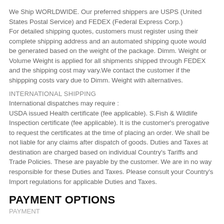We Ship WORLDWIDE. Our preferred shippers are USPS (United States Postal Service) and FEDEX (Federal Express Corp.)
For detailed shipping quotes, customers must register using their complete shipping address and an automated shipping quote would be generated based on the weight of the package. Dimm. Weight or Volume Weight is applied for all shipments shipped through FEDEX and the shipping cost may vary.We contact the customer if the shippping costs vary due to Dimm. Weight with alternatives.
INTERNATIONAL SHIPPING
International dispatches may require :
USDA issued Health certificate (fee applicable). S.Fish & Wildlife Inspection certificate (fee applicable). It is the customer's prerogative to request the certificates at the time of placing an order. We shall be not liable for any claims after dispatch of goods. Duties and Taxes at destination are charged based on individual Country's Tariffs and Trade Policies. These are payable by the customer. We are in no way responsible for these Duties and Taxes. Please consult your Country's Import regulations for applicable Duties and Taxes.
PAYMENT OPTIONS
PAYMENT